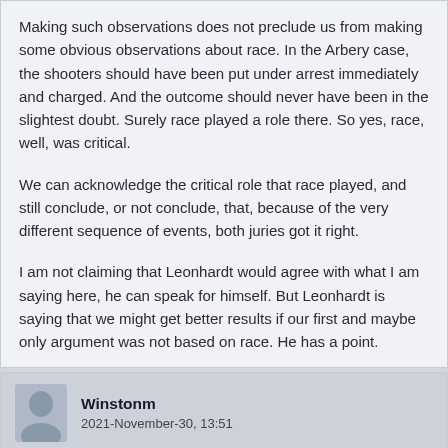Making such observations does not preclude us from making some obvious observations about race. In the Arbery case, the shooters should have been put under arrest immediately and charged. And the outcome should never have been in the slightest doubt. Surely race played a role there. So yes, race, well, was critical.
We can acknowledge the critical role that race played, and still conclude, or not conclude, that, because of the very different sequence of events, both juries got it right.
I am not claiming that Leonhardt would agree with what I am saying here, he can speak for himself. But Leonhardt is saying that we might get better results if our first and maybe only argument was not based on race. He has a point.
Winstonm
2021-November-30, 13:51
kenberg, on 2021-November-30, 11:30, said:
I often think we would get better results by going easy with the race card, as Leonhardt is suggesting. Try this: